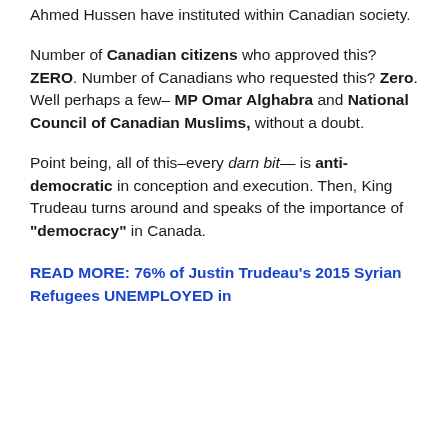Ahmed Hussen have instituted within Canadian society.
Number of Canadian citizens who approved this? ZERO. Number of Canadians who requested this? Zero. Well perhaps a few– MP Omar Alghabra and National Council of Canadian Muslims, without a doubt.
Point being, all of this–every darn bit— is anti-democratic in conception and execution. Then, King Trudeau turns around and speaks of the importance of "democracy" in Canada.
READ MORE: 76% of Justin Trudeau's 2015 Syrian Refugees UNEMPLOYED in